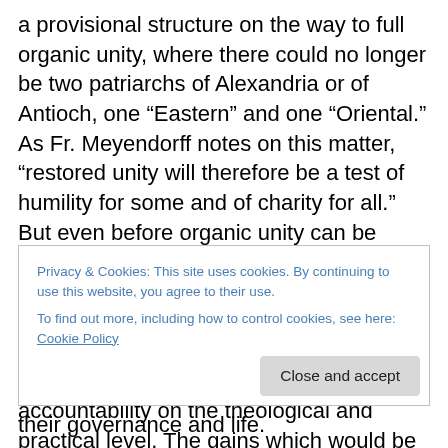a provisional structure on the way to full organic unity, where there could no longer be two patriarchs of Alexandria or of Antioch, one “Eastern” and one “Oriental.” As Fr. Meyendorff notes on this matter, “restored unity will therefore be a test of humility for some and of charity for all.” But even before organic unity can be envisaged, it will be a challenge to attain a balance between Church unity and church independence. If the communion of communions is to bear any meaning at all there must be a sense of mutual accountability on the theological and practical level. The gains which would be experienced in
Privacy & Cookies: This site uses cookies. By continuing to use this website, you agree to their use.
To find out more, including how to control cookies, see here: Cookie Policy
Close and accept
their governance and life.